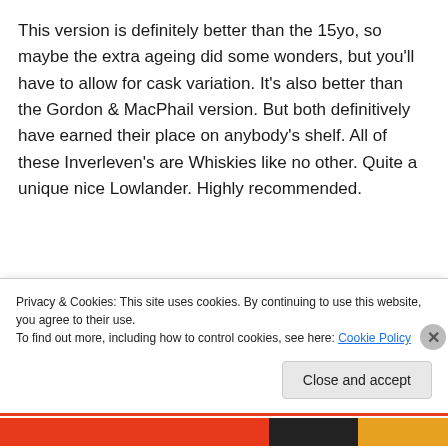This version is definitely better than the 15yo, so maybe the extra ageing did some wonders, but you'll have to allow for cask variation. It's also better than the Gordon & MacPhail version. But both definitively have earned their place on anybody's shelf. All of these Inverleven's are Whiskies like no other. Quite a unique nice Lowlander. Highly recommended.
Points: 88
Sponsored Content
Privacy & Cookies: This site uses cookies. By continuing to use this website, you agree to their use.
To find out more, including how to control cookies, see here: Cookie Policy
Close and accept